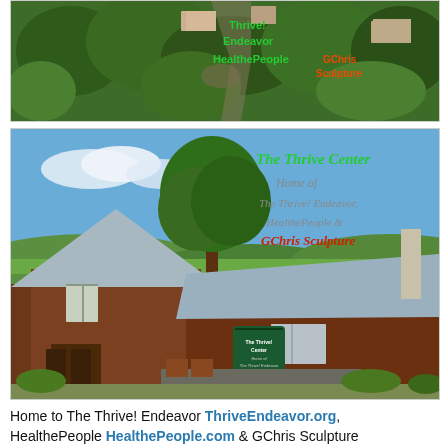[Figure (photo): Aerial view of The Thrive Center property surrounded by trees, with green text overlay reading 'Thrive! Endeavor HealthePeople' and red text overlay with address/name]
[Figure (photo): Ground-level photo of The Thrive Center building - a rustic wooden structure with metal roof, large tree behind, rolling hills and sky in background. Text overlay reads 'The Thrive Center Home of The Thrive! Endeavor, HealthePeople & GChris Sculpture'. A green sign is visible on the building.]
Home to The Thrive! Endeavor ThriveEndeavor.org, HealthePeople HealthePeople.com & GChris Sculpture GChris.com
For those who want to build and achieve a healthy and thriving